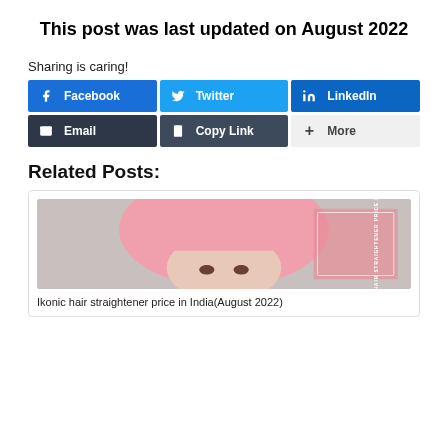This post was last updated on August 2022
Sharing is caring!
[Figure (infographic): Social sharing buttons: Facebook, Twitter, LinkedIn, Email, Copy Link, More]
Related Posts:
[Figure (photo): Person with pink hair wig, with a pink overlay label reading 'IKONIC HAIR STRAIGHTENER PRICE IN INDIA']
Ikonic hair straightener price in India(August 2022)